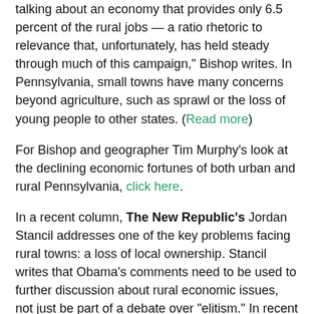talking about an economy that provides only 6.5 percent of the rural jobs — a ratio rhetoric to relevance that, unfortunately, has held steady through much of this campaign," Bishop writes. In Pennsylvania, small towns have many concerns beyond agriculture, such as sprawl or the loss of young people to other states. (Read more)
For Bishop and geographer Tim Murphy's look at the declining economic fortunes of both urban and rural Pennsylvania, click here.
In a recent column, The New Republic's Jordan Stancil addresses one of the key problems facing rural towns: a loss of local ownership. Stancil writes that Obama's comments need to be used to further discussion about rural economic issues, not just be part of a debate over "elitism." In recent decades, "Rural Americans have seen their ownership of their communities hollowed out by relentless consolidation in the retail and financial sectors -- to say nothing of agriculture," Stancil writes. "While Obama is right to emphasize the fact that rural areas are hurting financially, the problem is not just cyclical changes in the economy but a